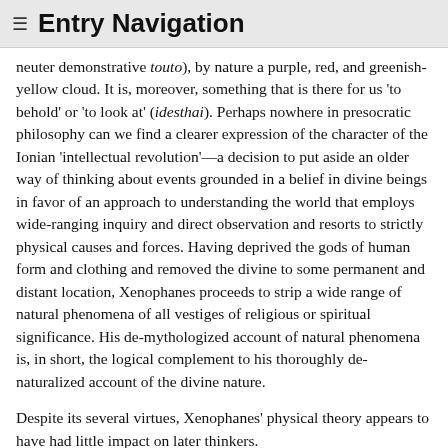≡ Entry Navigation
neuter demonstrative touto), by nature a purple, red, and greenish-yellow cloud. It is, moreover, something that is there for us 'to behold' or 'to look at' (idesthai). Perhaps nowhere in presocratic philosophy can we find a clearer expression of the character of the Ionian 'intellectual revolution'—a decision to put aside an older way of thinking about events grounded in a belief in divine beings in favor of an approach to understanding the world that employs wide-ranging inquiry and direct observation and resorts to strictly physical causes and forces. Having deprived the gods of human form and clothing and removed the divine to some permanent and distant location, Xenophanes proceeds to strip a wide range of natural phenomena of all vestiges of religious or spiritual significance. His de-mythologized account of natural phenomena is, in short, the logical complement to his thoroughly de-naturalized account of the divine nature.
Despite its several virtues, Xenophanes' physical theory appears to have had little impact on later thinkers.